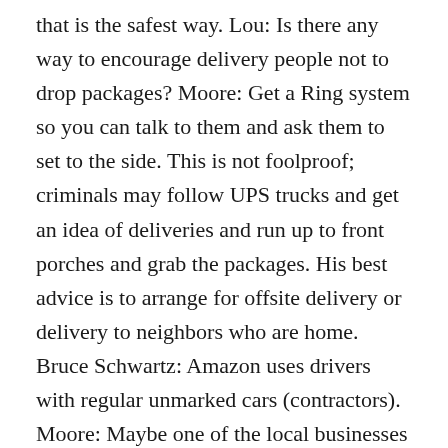that is the safest way. Lou: Is there any way to encourage delivery people not to drop packages? Moore: Get a Ring system so you can talk to them and ask them to set to the side. This is not foolproof; criminals may follow UPS trucks and get an idea of deliveries and run up to front porches and grab the packages. His best advice is to arrange for offsite delivery or delivery to neighbors who are home. Bruce Schwartz: Amazon uses drivers with regular unmarked cars (contractors). Moore: Maybe one of the local businesses could get locker boxes and packages could be delivered there. Carol Bruch: She expressed concern about apartment or condo buildings with locked front entries; she gets calls when drivers can't get in to deliver packages and they ask to be let in. Moore: He